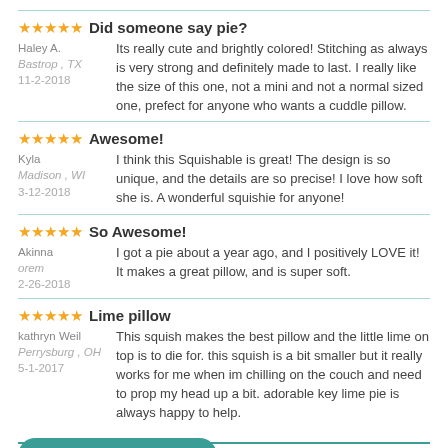Did someone say pie?
Haley A.
Bastrop , TX
11-2-2018
Its really cute and brightly colored! Stitching as always is very strong and definitely made to last. I really like the size of this one, not a mini and not a normal sized one, prefect for anyone who wants a cuddle pillow.
Awesome!
Kyla
Madison , WI
3-12-2018
I think this Squishable is great! The design is so unique, and the details are so precise! I love how soft she is. A wonderful squishie for anyone!
So Awesome!
Akinna
orem
2-26-2018
I got a pie about a year ago, and I positively LOVE it! It makes a great pillow, and is super soft.
Lime pillow
kathryn Weil
Perrysburg , OH
5-1-2017
This squish makes the best pillow and the little lime on top is to die for. this squish is a bit smaller but it really works for me when im chilling on the couch and need to prop my head up a bit. adorable key lime pie is always happy to help.
View all 13 reviews >